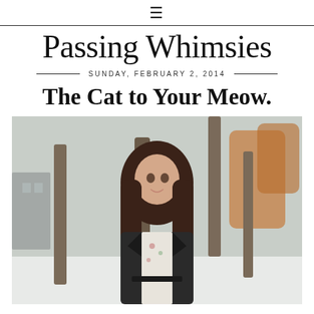☰
Passing Whimsies
SUNDAY, FEBRUARY 2, 2014
The Cat to Your Meow.
[Figure (photo): A young woman with long brown hair wearing a floral dress and black leather jacket, standing outdoors in a snowy park with bare trees and orange leaves in the background.]